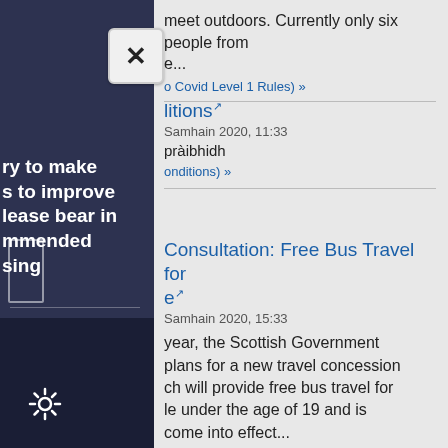meet outdoors. Currently only six people from e...
o Covid Level 1 Rules) »
litions ↗
Samhain 2020, 11:33
pràibhidh
onditions) »
Consultation: Free Bus Travel for e ↗
Samhain 2020, 15:33
year, the Scottish Government plans for a new travel concession ch will provide free bus travel for le under the age of 19 and is come into effect...
nt Consultation: Free Bus Travel for Young People) »
ry to make s to improve lease bear in mmended sing
ms of our